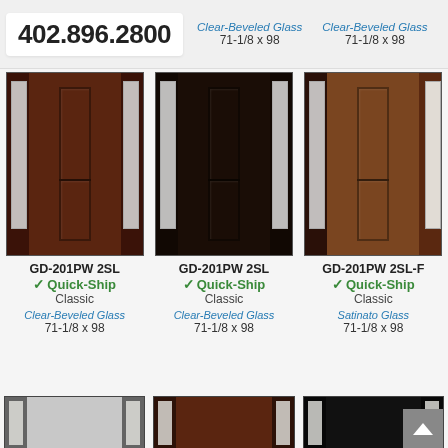402.896.2800
Clear-Beveled Glass
71-1/8 x 98
Clear-Beveled Glass
71-1/8 x 98
[Figure (photo): Dark brown wood entry door with two sidelites, two-panel design (GD-201PW 2SL)]
GD-201PW 2SL
✓ Quick-Ship
Classic
Clear-Beveled Glass
71-1/8 x 98
[Figure (photo): Near-black wood entry door with two sidelites, two-panel design (GD-201PW 2SL)]
GD-201PW 2SL
✓ Quick-Ship
Classic
Clear-Beveled Glass
71-1/8 x 98
[Figure (photo): Walnut brown wood entry door with one sidelite (right), two-panel design (GD-201PW 2SL-F)]
GD-201PW 2SL-F
✓ Quick-Ship
Classic
Satinato Glass
71-1/8 x 98
[Figure (photo): Partial view of light gray door with sidelites (bottom row left)]
[Figure (photo): Partial view of medium brown door with sidelites (bottom row center)]
[Figure (photo): Partial view of near-black door with sidelites (bottom row right)]